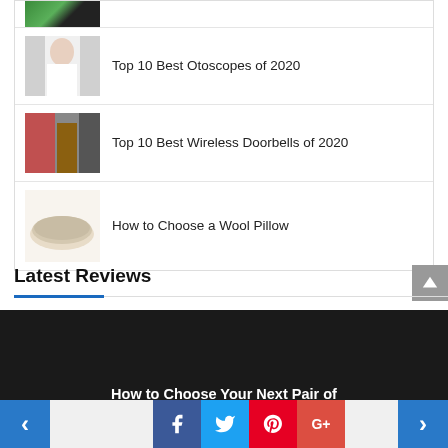[Figure (photo): Thumbnail image partially visible at top]
Top 10 Best Otoscopes of 2020
Top 10 Best Wireless Doorbells of 2020
How to Choose a Wool Pillow
Latest Reviews
How to Choose Your Next Pair of
[Figure (other): Social share bar with Facebook, Twitter, Pinterest, Google+ icons and left/right navigation arrows]